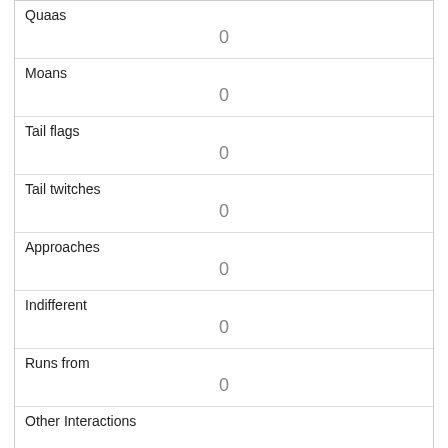| Quaas | 0 |
| Moans | 0 |
| Tail flags | 0 |
| Tail twitches | 0 |
| Approaches | 0 |
| Indifferent | 0 |
| Runs from | 0 |
| Other Interactions |  |
| Lat/Long | POINT (-73.9676692772518 40.7764726688908) |
| Link | 1004 |